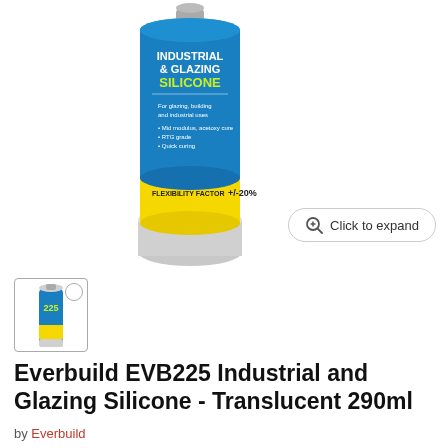[Figure (photo): Everbuild EVB225 Industrial and Glazing Silicone cartridge tube product photo, blue and yellow label, translucent/white]
[Figure (screenshot): Click to expand zoom button with magnifying glass icon]
[Figure (photo): Thumbnail image of Everbuild EVB225 silicone cartridge, selected state]
Everbuild EVB225 Industrial and Glazing Silicone - Translucent 290ml
by Everbuild
£6.95